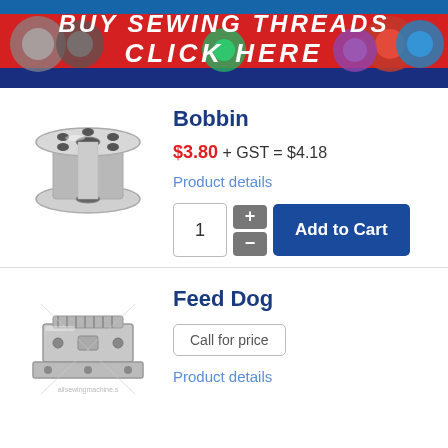[Figure (illustration): Banner advertisement: BUY SEWING THREADS CLICK HERE with colorful thread spools on blue and red background]
[Figure (photo): Silver metal bobbin sewing machine part]
Bobbin
$3.80 + GST = $4.18
Product details
1
Add to Cart
[Figure (photo): Silver metal feed dog sewing machine part with watermark]
Feed Dog
Call for price
Product details